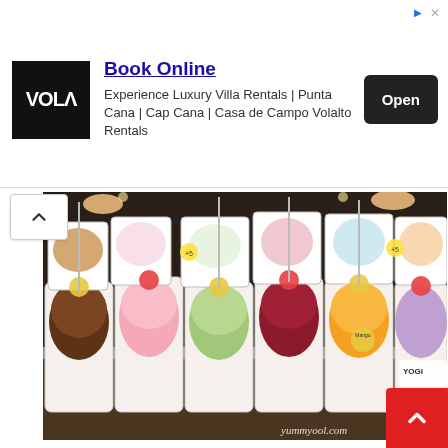[Figure (infographic): Advertisement banner with VOLA logo, 'Book Online' heading, 'Experience Luxury Villa Rentals | Punta Cana | Cap Cana | Casa de Campo Volalto Rentals' subtitle, and an 'Open' button]
[Figure (photo): Gelato display case with many flavors in white trays, flavor labels/signs visible, hands scooping gelato, watermark 'yummyool.com']
Thick, creamy and lots of flavours especially on a hot day are the reasons that drives Lemoncello Gelato to be one of hottest street food in Macau. The shop propelled to fame when they are included as one of Macau local street food to